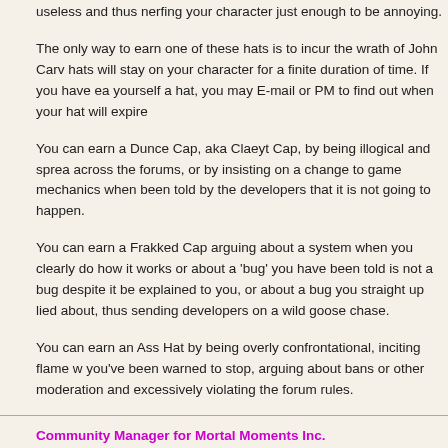useless and thus nerfing your character just enough to be annoying.
The only way to earn one of these hats is to incur the wrath of John Carv... hats will stay on your character for a finite duration of time. If you have ea... yourself a hat, you may E-mail or PM to find out when your hat will expire...
You can earn a Dunce Cap, aka Claeyt Cap, by being illogical and sprea... across the forums, or by insisting on a change to game mechanics when... been told by the developers that it is not going to happen.
You can earn a Frakked Cap arguing about a system when you clearly do... how it works or about a 'bug' you have been told is not a bug despite it be... explained to you, or about a bug you straight up lied about, thus sending... developers on a wild goose chase.
You can earn an Ass Hat by being overly confrontational, inciting flame w... you've been warned to stop, arguing about bans or other moderation and... excessively violating the forum rules.
Community Manager for Mortal Moments Inc.
Icon wrote:
This isn't Farmville with fighting, its Mortal Kombat with corn.